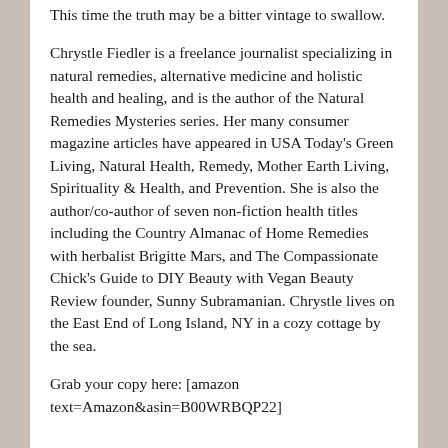This time the truth may be a bitter vintage to swallow.
Chrystle Fiedler is a freelance journalist specializing in natural remedies, alternative medicine and holistic health and healing, and is the author of the Natural Remedies Mysteries series. Her many consumer magazine articles have appeared in USA Today's Green Living, Natural Health, Remedy, Mother Earth Living, Spirituality & Health, and Prevention. She is also the author/co-author of seven non-fiction health titles including the Country Almanac of Home Remedies with herbalist Brigitte Mars, and The Compassionate Chick's Guide to DIY Beauty with Vegan Beauty Review founder, Sunny Subramanian. Chrystle lives on the East End of Long Island, NY in a cozy cottage by the sea.
Grab your copy here: [amazon text=Amazon&asin=B00WRBQP22]